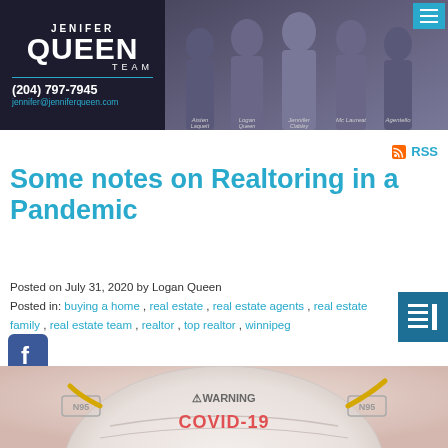[Figure (photo): Jenifer Queen Team real estate agency header banner with team photo and logo showing (204) 797-7945 and jennifer@jenniferqueen.com]
RSS
Some notes on Realtoring in a Pandemic
Posted on July 31, 2020 by Logan Queen
Posted in: buying a home , real estate , real estate agents , real estate family , real estate team , realtor , top realtor , winnipeg
[Figure (photo): Facebook share icon (square Facebook logo)]
[Figure (photo): N95 face mask with WARNING and COVID-19 text on a light beige/pink background]